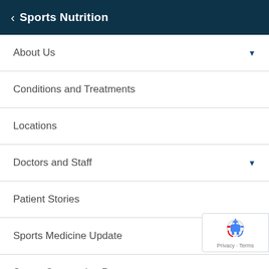Sports Nutrition
About Us
Conditions and Treatments
Locations
Doctors and Staff
Patient Stories
Sports Medicine Update
Sports Concussion Program
[Figure (logo): reCAPTCHA badge with robot icon and Privacy - Terms text]